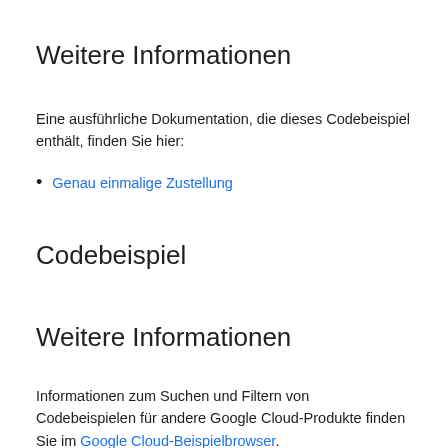Weitere Informationen
Eine ausführliche Dokumentation, die dieses Codebeispiel enthält, finden Sie hier:
Genau einmalige Zustellung
Codebeispiel
Weitere Informationen
Informationen zum Suchen und Filtern von Codebeispielen für andere Google Cloud-Produkte finden Sie im Google Cloud-Beispielbrowser.